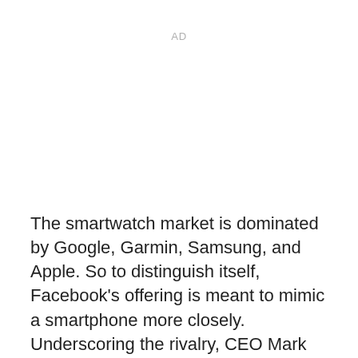AD
The smartwatch market is dominated by Google, Garmin, Samsung, and Apple. So to distinguish itself, Facebook's offering is meant to mimic a smartphone more closely. Underscoring the rivalry, CEO Mark Zuckerberg made several jabs at what he called “closed platforms,” possibly referring to Android and iOS, during Thursday’s Connect keynote. Earlier this week, in its earnings call,